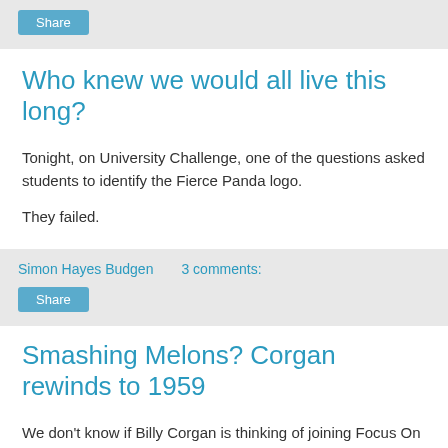[Figure (other): Share button in gray top bar]
Who knew we would all live this long?
Tonight, on University Challenge, one of the questions asked students to identify the Fierce Panda logo.
They failed.
Simon Hayes Budgen   3 comments:
[Figure (other): Share button in gray meta bar]
Smashing Melons? Corgan rewinds to 1959
We don't know if Billy Corgan is thinking of joining Focus On The Family anytime soon, but judging by his remarks at